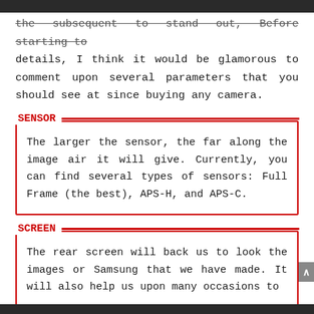the subsequent to stand out, Before starting to details, I think it would be glamorous to comment upon several parameters that you should see at since buying any camera.
SENSOR
The larger the sensor, the far along the image air it will give. Currently, you can find several types of sensors: Full Frame (the best), APS-H, and APS-C.
SCREEN
The rear screen will back us to look the images or Samsung that we have made. It will also help us upon many occasions to